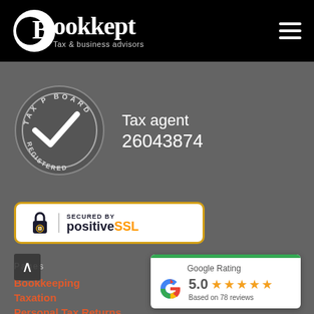[Figure (logo): Bookkept Tax & business advisors logo with circular moon/B icon on black header bar]
[Figure (illustration): Tax Practitioners Board REGISTERED circular badge with checkmark]
Tax agent
26043874
[Figure (logo): Secured by positiveSSL badge with padlock icon, gold border on white background]
Pages
Bookkeeping
Taxation
Personal Tax Returns
[Figure (infographic): Google Rating card showing 5.0 stars based on 78 reviews]